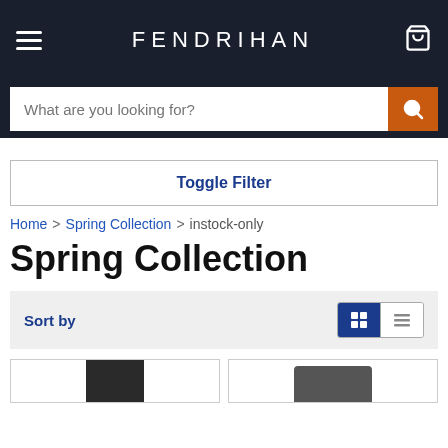FENDRIHAN
What are you looking for?
Toggle Filter
Home > Spring Collection > instock-only
Spring Collection
Sort by
[Figure (screenshot): Two partially visible product cards at the bottom of the page]